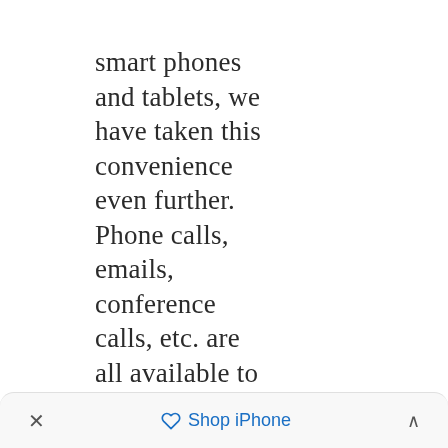smart phones and tablets, we have taken this convenience even further. Phone calls, emails, conference calls, etc. are all available to us at any time, all from a single device. And this same
× Shop iPhone ^